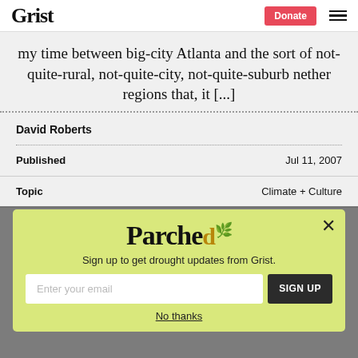Grist | Donate | Menu
my time between big-city Atlanta and the sort of not-quite-rural, not-quite-city, not-quite-suburb nether regions that, it [...]
David Roberts
Published    Jul 11, 2007
Topic    Climate + Culture
[Figure (other): Parchea newsletter signup modal overlay with yellow-green background, logo, email input, and Sign Up button]
Sign up to get drought updates from Grist.
No thanks